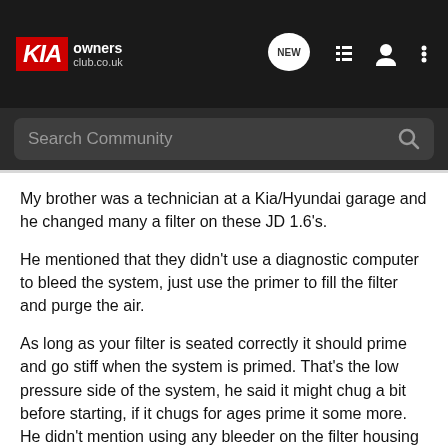KIA owners club.co.uk — navigation bar with NEW, list, user, and menu icons
Search Community
My brother was a technician at a Kia/Hyundai garage and he changed many a filter on these JD 1.6's.
He mentioned that they didn't use a diagnostic computer to bleed the system, just use the primer to fill the filter and purge the air.
As long as your filter is seated correctly it should prime and go stiff when the system is primed. That's the low pressure side of the system, he said it might chug a bit before starting, if it chugs for ages prime it some more. He didn't mention using any bleeder on the filter housing as the air/fuel is pushed back down the low pressure return line to the tank.